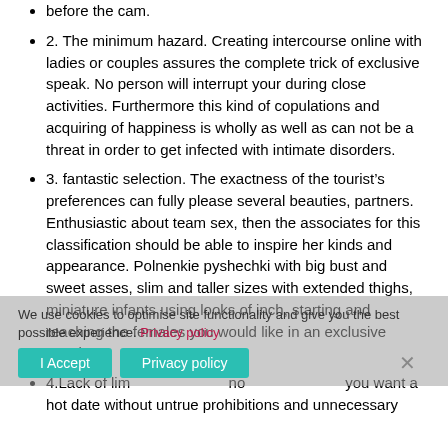before the cam.
2. The minimum hazard. Creating intercourse online with ladies or couples assures the complete trick of exclusive speak. No person will interrupt your during close activities. Furthermore this kind of copulations and acquiring of happiness is wholly as well as can not be a threat in order to get infected with intimate disorders.
3. fantastic selection. The exactness of the tourist’s preferences can fully please several beauties, partners. Enthusiastic about team sex, then the associates for this classification should be able to inspire her kinds and appearance. Polnenkie pyshechki with big bust and sweet asses, slim and taller sizes with extended thighs, miniature infants using looks of inch, starting and reaching the females you would like in an exclusive speak.
We use cookies to optimise site functionality and give you the best possible experience. Privacy policy
4.Lack of limits. no you want a hot date without untrue prohibitions and unnecessary